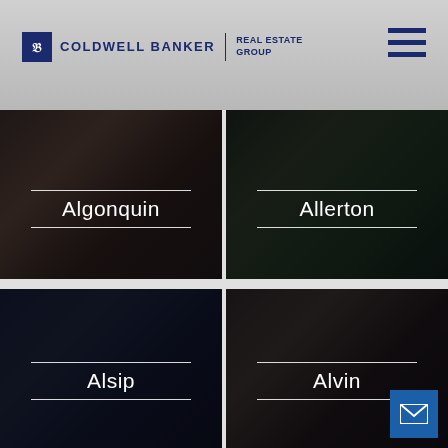[Figure (logo): Coldwell Banker Real Estate Group logo with navigation header and hamburger menu]
[Figure (photo): Algonquin neighborhood card with dark interior room photo and white text label]
[Figure (photo): Allerton neighborhood card with dark exterior house photo and white text label]
[Figure (photo): Alsip neighborhood card with dark aerial city photo and white text label]
[Figure (photo): Alvin neighborhood card with dark interior room photo and white text label, email button overlay]